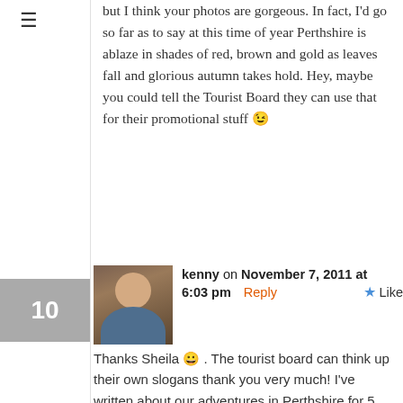but I think your photos are gorgeous. In fact, I'd go so far as to say at this time of year Perthshire is ablaze in shades of red, brown and gold as leaves fall and glorious autumn takes hold. Hey, maybe you could tell the Tourist Board they can use that for their promotional stuff 😉
kenny on November 7, 2011 at 6:03 pm Reply ★ Like
Thanks Sheila 😀 . The tourist board can think up their own slogans thank you very much! I've written about our adventures in Perthshire for 5 years now...and it's taken me 5 years to come up with that one.